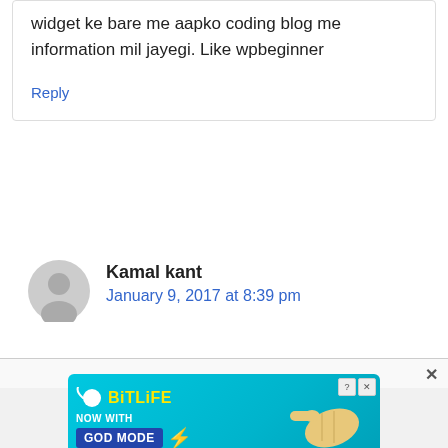widget ke bare me aapko coding blog me information mil jayegi. Like wpbeginner
Reply
Kamal kant
January 9, 2017 at 8:39 pm
[Figure (screenshot): BitLife ad banner: 'NOW WITH GOD MODE' on a teal background with a pointing hand illustration]